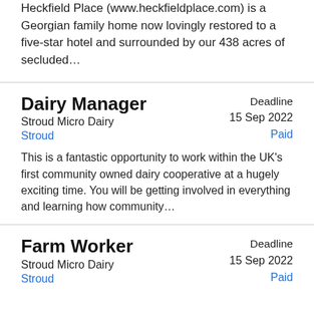Heckfield Place (www.heckfieldplace.com) is a Georgian family home now lovingly restored to a five-star hotel and surrounded by our 438 acres of secluded...
Dairy Manager
Stroud Micro Dairy
Stroud
Deadline
15 Sep 2022
Paid
This is a fantastic opportunity to work within the UK's first community owned dairy cooperative at a hugely exciting time. You will be getting involved in everything and learning how community...
Farm Worker
Stroud Micro Dairy
Stroud
Deadline
15 Sep 2022
Paid